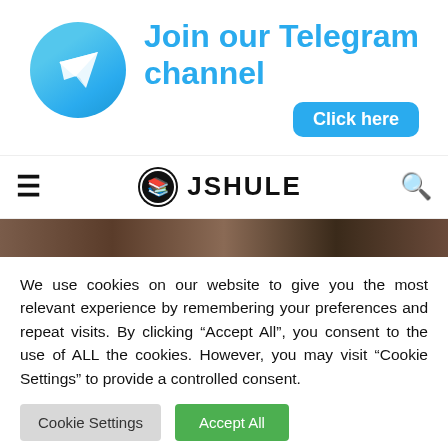[Figure (logo): Telegram banner with blue circle logo showing paper plane icon, bold cyan text 'Join our Telegram channel' and a cyan 'Click here' button]
[Figure (logo): JShule website navigation bar with hamburger menu, circular book/person logo and JSHULE text, and search icon]
[Figure (photo): Dark brownish hero image strip]
We use cookies on our website to give you the most relevant experience by remembering your preferences and repeat visits. By clicking "Accept All", you consent to the use of ALL the cookies. However, you may visit "Cookie Settings" to provide a controlled consent.